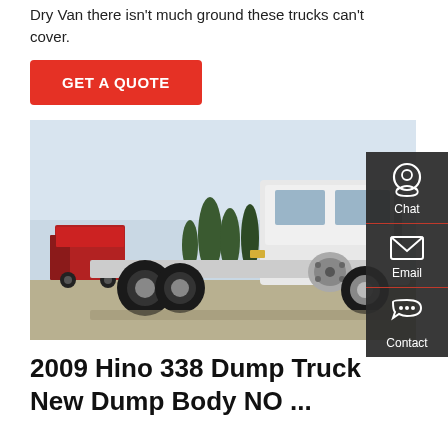Dry Van there isn't much ground these trucks can't cover.
GET A QUOTE
[Figure (photo): A white semi-truck tractor with rear axles visible, parked in a lot with trees and another red truck in the background. Chat, Email, and Contact sidebar overlay on right side.]
2009 Hino 338 Dump Truck New Dump Body NO ...